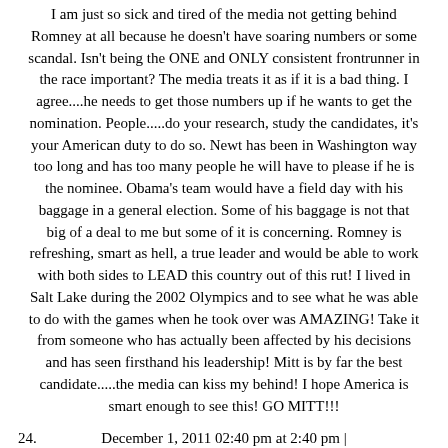I am just so sick and tired of the media not getting behind Romney at all because he doesn't have soaring numbers or some scandal. Isn't being the ONE and ONLY consistent frontrunner in the race important? The media treats it as if it is a bad thing. I agree....he needs to get those numbers up if he wants to get the nomination. People.....do your research, study the candidates, it's your American duty to do so. Newt has been in Washington way too long and has too many people he will have to please if he is the nominee. Obama's team would have a field day with his baggage in a general election. Some of his baggage is not that big of a deal to me but some of it is concerning. Romney is refreshing, smart as hell, a true leader and would be able to work with both sides to LEAD this country out of this rut! I lived in Salt Lake during the 2002 Olympics and to see what he was able to do with the games when he took over was AMAZING! Take it from someone who has actually been affected by his decisions and has seen firsthand his leadership! Mitt is by far the best candidate.....the media can kiss my behind! I hope America is smart enough to see this! GO MITT!!!
December 1, 2011 02:40 pm at 2:40 pm | GEEP10
The Newtstrer is a prime example of "putting lipstick on a pig"!!! We start GLOB...